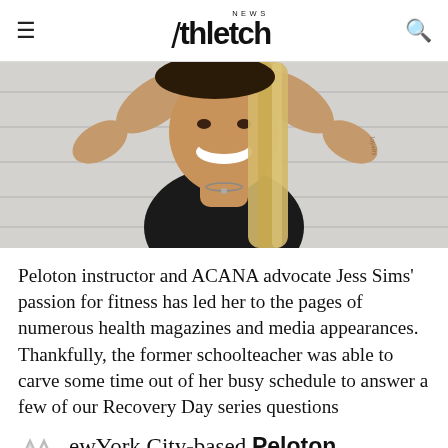Athletech NEWS
[Figure (photo): Photo of Jess Sims, a woman with long blonde braids, wearing a black athletic top, arms raised above her head, smiling broadly, photographed against a light background.]
Peloton instructor and ACANA advocate Jess Sims' passion for fitness has led her to the pages of numerous health magazines and media appearances. Thankfully, the former schoolteacher was able to carve some time out of her busy schedule to answer a few of our Recovery Day series questions
New York City-based Peloton